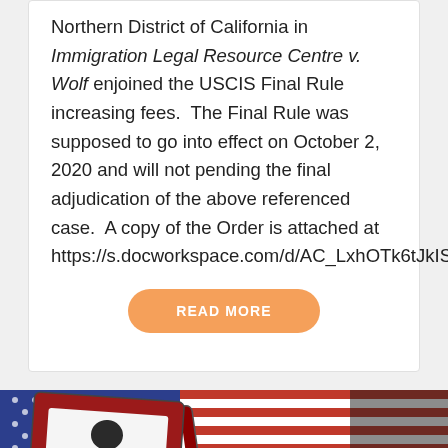Northern District of California in Immigration Legal Resource Centre v. Wolf enjoined the USCIS Final Rule increasing fees.  The Final Rule was supposed to go into effect on October 2, 2020 and will not pending the final adjudication of the above referenced case.  A copy of the Order is attached at https://s.docworkspace.com/d/AC_LxhOTk6tJkIS
READ MORE
[Figure (photo): Photo of US passports and American flag, red white and blue colors with silhouette of a person on passport photo page. TrustedSite certified secure badge visible in bottom right corner.]